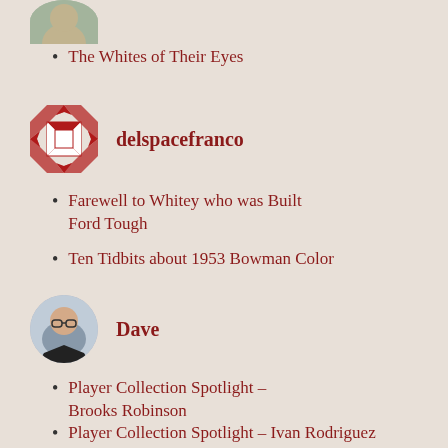[Figure (photo): Partial avatar photo of user davec07, cropped at top]
The Whites of Their Eyes
[Figure (illustration): Avatar for delspacefranco — circular quilt-pattern icon in red and white]
delspacefranco
Farewell to Whitey who was Built Ford Tough
Ten Tidbits about 1953 Bowman Color
[Figure (photo): Avatar photo of user Dave — man with glasses and dark jacket]
Dave
Player Collection Spotlight – Brooks Robinson
Player Collection Spotlight – Ivan Rodriguez
[Figure (photo): Partial avatar photo at bottom, cropped]